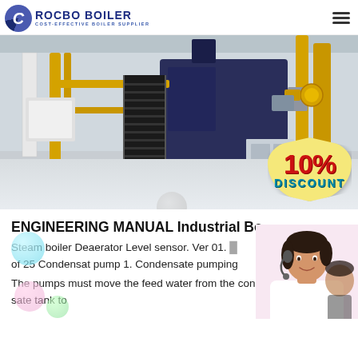[Figure (logo): Rocbo Boiler logo with circular emblem and text 'ROCBO BOILER - COST-EFFECTIVE BOILER SUPPLIER']
[Figure (photo): Industrial boiler room showing large boilers with yellow piping, black metal staircase, and factory interior with a '10% DISCOUNT' badge overlay]
ENGINEERING MANUAL Industrial Bo...
Steam boiler Deaerator Level sensor. Ver 01. ... of 25 Condensat pump 1. Condensate pumping
The pumps must move the feed water from the condensate tank to ...